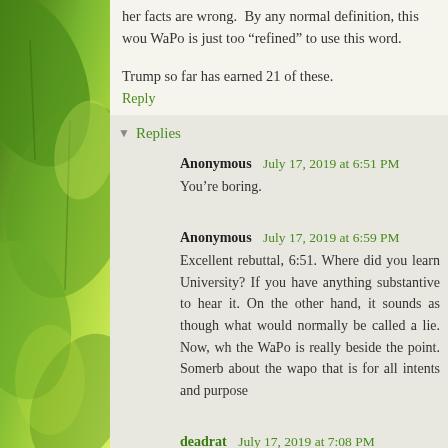her facts are wrong. By any normal definition, this wou WaPo is just too “refined” to use this word.
Trump so far has earned 21 of these.
Reply
Replies
Anonymous  July 17, 2019 at 6:51 PM
You’re boring.
Anonymous  July 17, 2019 at 6:59 PM
Excellent rebuttal, 6:51. Where did you learn University? If you have anything substantive to hear it. On the other hand, it sounds as though what would normally be called a lie. Now, wh the WaPo is really beside the point. Somerby about the wapo that is for all intents and purpose
deadrat  July 17, 2019 at 7:08 PM